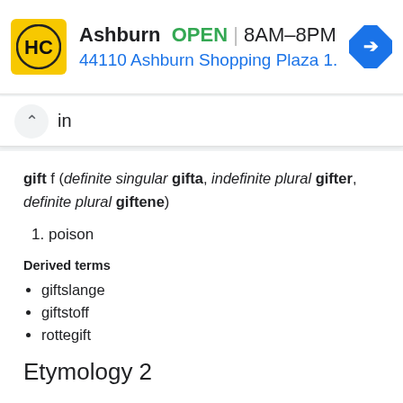[Figure (screenshot): Ad banner for HC store in Ashburn showing logo, OPEN status, hours 8AM-8PM, address 44110 Ashburn Shopping Plaza 1., and navigation arrow icon]
in
gift f (definite singular gifta, indefinite plural gifter, definite plural giftene)
1. poison
Derived terms
giftslange
giftstoff
rottegift
Etymology 2